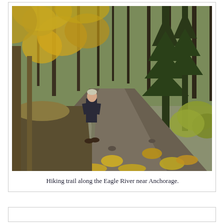[Figure (photo): A man in a dark jacket standing on a leaf-covered hiking trail through an autumn forest. The trail winds into the distance, flanked by birch and spruce trees with yellow and green foliage. Fallen yellow leaves cover the gravel path. The setting is near Eagle River, Anchorage, Alaska.]
Hiking trail along the Eagle River near Anchorage.